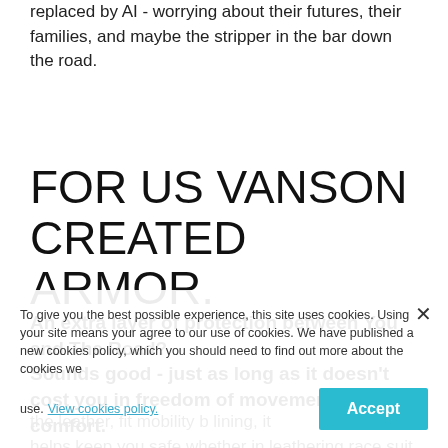replaced by AI - worrying about their futures, their families, and maybe the stripper in the bar down the road.
FOR US VANSON CREATED ARMOR.
An extra layer of protection between You and The Road?
Sounds good - just as long as it doesn't cost you in freedom of movement or comfort.
the leather, fitted with mobility b... lining, it helps keep you safe whether in leathering race suit
To give you the best possible experience, this site uses cookies. Using your site means your agree to our use of cookies. We have published a new cookies policy, which you should need to find out more about the cookies we use. View cookies policy. Accept